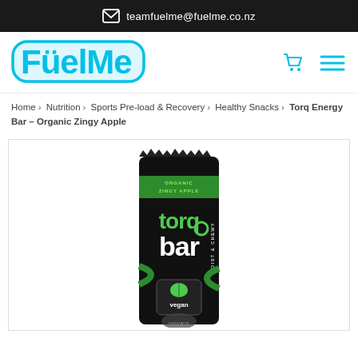teamfuelme@fuelme.co.nz
[Figure (logo): FuelMe logo in cyan/turquoise bubbly font with umlaut over the u]
Home › Nutrition › Sports Pre-load & Recovery › Healthy Snacks › Torq Energy Bar – Organic Zingy Apple
[Figure (photo): Torq bar product photo - black and green energy bar packaging with 'torq bar' logo, 'Organic Zingy Apple' flavor, 'Moist & Chewy' text, and Vegan certification badge]